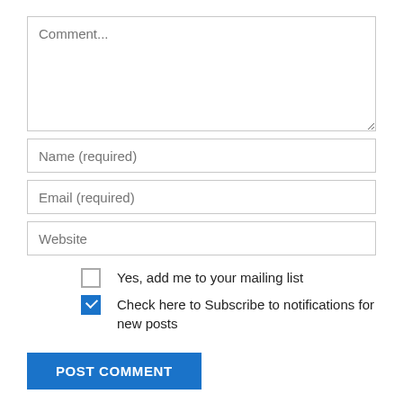[Figure (screenshot): Comment form with textarea, name, email, website fields, two checkboxes, and a POST COMMENT button]
Comment...
Name (required)
Email (required)
Website
Yes, add me to your mailing list
Check here to Subscribe to notifications for new posts
POST COMMENT